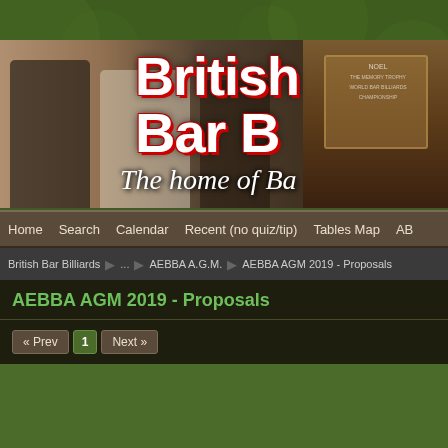[Figure (screenshot): Website header banner for British Bar Billiards website. Green background with decorative circles. Hero image shows people at a bar billiards event holding a trophy, with text overlaid: 'British Bar B...' and 'The home of Ba...']
Home | Search | Calendar | Recent (no quiz/tip) | Tables Map | AB
British Bar Billiards ... AEBBA A.G.M. AEBBA AGM 2019 - Proposals
AEBBA AGM 2019 - Proposals
« Prev 1 Next »